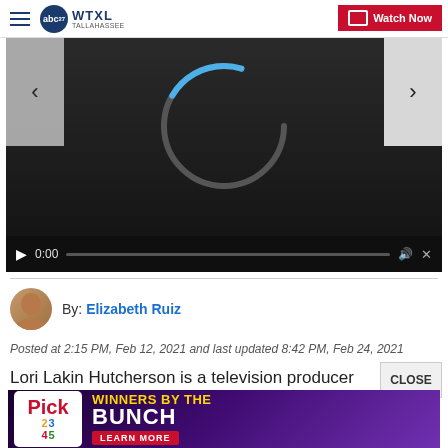WTXL TALLAHASSEE — Watch Now
[Figure (screenshot): Video player showing a loading spinner (circular arc) with dark background, navigation left/right arrows, and a video controls bar showing 0:00 timestamp and mute icon]
By: Elizabeth Ruiz
Posted at 2:15 PM, Feb 12, 2021 and last updated 8:42 PM, Feb 24, 2021
Lori Lakin Hutcherson is a television producer and screenwriter. She's also the creator of a website dedicated specifically to telling positive stories ab...
[Figure (infographic): Advertisement banner: Pick lottery — Winners by the Bunch, Learn More]